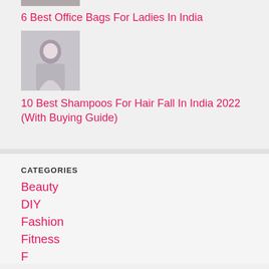[Figure (photo): Partial thumbnail image at top of page, partially cropped]
6 Best Office Bags For Ladies In India
[Figure (photo): Thumbnail of a woman with hands clasped, possibly in prayer or namaste pose]
10 Best Shampoos For Hair Fall In India 2022 (With Buying Guide)
CATEGORIES
Beauty
DIY
Fashion
Fitness
F...